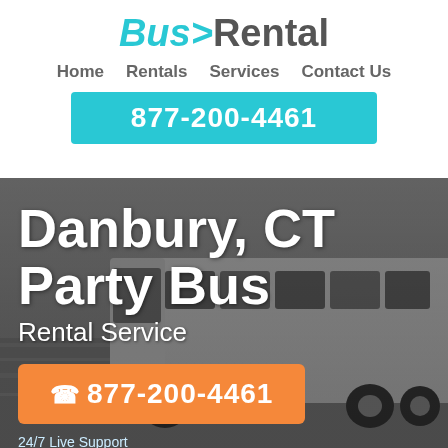[Figure (logo): Bus5Rental logo with cyan swoosh and gray Rental text]
Home   Rentals   Services   Contact Us
877-200-4461
[Figure (photo): A white luxury coach bus speeding on a highway with motion blur background]
Danbury, CT Party Bus
Rental Service
877-200-4461
24/7 Live Support